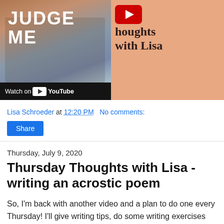[Figure (screenshot): YouTube video thumbnail showing 'JUDGE ME' text over group of teens photo on the left, and YouTube logo with 'thoughts with Lisa' text on peach/tan background on the right. Bottom bar shows 'Watch on YouTube'.]
Lisa Schroeder at 12:20 PM   No comments:
Share
Thursday, July 9, 2020
Thursday Thoughts with Lisa - writing an acrostic poem
So, I'm back with another video and a plan to do one every Thursday! I'll give writing tips, do some writing exercises for you, talk about books, maybe do some reading, whatever I